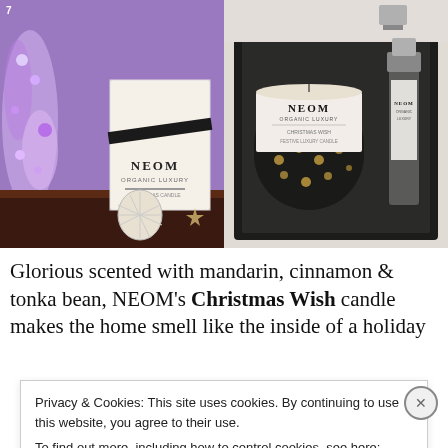[Figure (photo): Two product photos of NEOM Christmas Wish candle. Left: NEOM branded box with ribbon, pine cone ornament and purple crystal tree decoration. Right: NEOM Christmas Wish candle in gold polka-dot glass with spray bottle in a black gift box.]
Glorious scented with mandarin, cinnamon & tonka bean, NEOM’s Christmas Wish candle makes the home smell like the inside of a holiday
Privacy & Cookies: This site uses cookies. By continuing to use this website, you agree to their use.
To find out more, including how to control cookies, see here: Cookie Policy
Close and accept